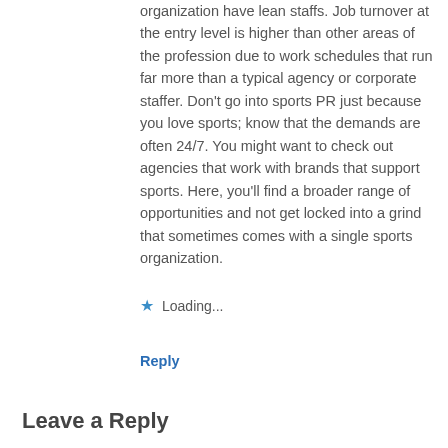organization have lean staffs. Job turnover at the entry level is higher than other areas of the profession due to work schedules that run far more than a typical agency or corporate staffer. Don't go into sports PR just because you love sports; know that the demands are often 24/7. You might want to check out agencies that work with brands that support sports. Here, you'll find a broader range of opportunities and not get locked into a grind that sometimes comes with a single sports organization.
★ Loading...
Reply
Leave a Reply